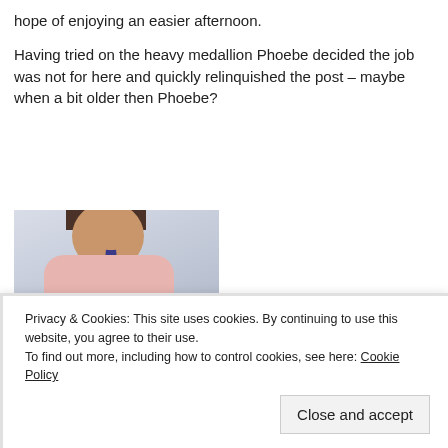hope of enjoying an easier afternoon.
Having tried on the heavy medallion Phoebe decided the job was not for here and quickly relinquished the post – maybe when a bit older then Phoebe?
[Figure (photo): A young girl wearing a pink top and jeans with a dark blue ribbon/lanyard and medallion around her neck, smiling at the camera.]
Privacy & Cookies: This site uses cookies. By continuing to use this website, you agree to their use.
To find out more, including how to control cookies, see here: Cookie Policy
Close and accept